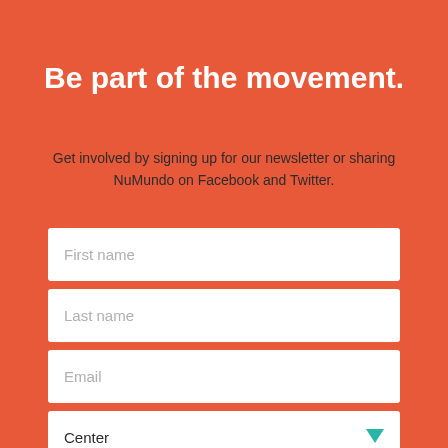Be part of the movement.
Get involved by signing up for our newsletter or sharing NuMundo on Facebook and Twitter.
[Figure (screenshot): Web form with four input fields: First name, Last name, Email, and a Center dropdown selector with a teal arrow.]